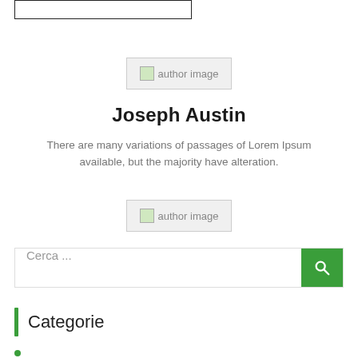[Figure (other): Empty bordered rectangle at top left]
[Figure (photo): Broken/placeholder author image thumbnail with label 'author image']
Joseph Austin
There are many variations of passages of Lorem Ipsum available, but the majority have alteration.
[Figure (photo): Broken/placeholder author image thumbnail with label 'author image']
Cerca ...
Categorie